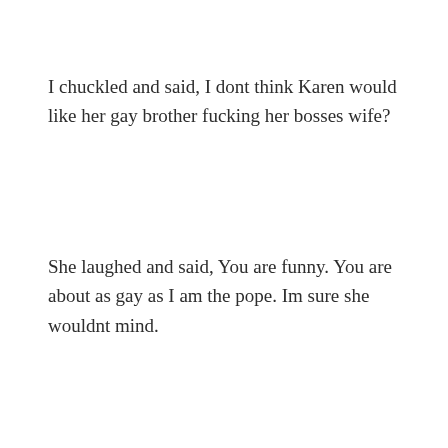I chuckled and said, I dont think Karen would like her gay brother fucking her bosses wife?
She laughed and said, You are funny. You are about as gay as I am the pope. Im sure she wouldnt mind.